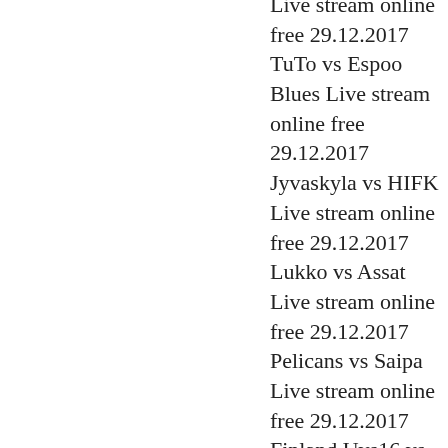Live stream online free 29.12.2017 TuTo vs Espoo Blues Live stream online free 29.12.2017 Jyvaskyla vs HIFK Live stream online free 29.12.2017 Lukko vs Assat Live stream online free 29.12.2017 Pelicans vs Saipa Live stream online free 29.12.2017 Finland Uvs16 vs Switzerland Uvs16 Live stream online free 29.12.2017 Dynamo Mn vs SKA Live stream online free 29.12.2017 Al Nassr vs Al